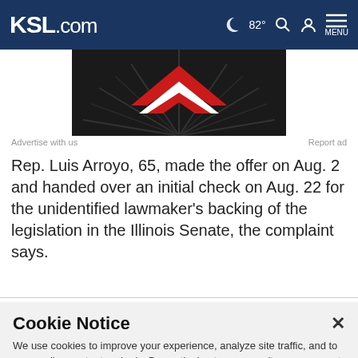KSL.com  82°  MENU
[Figure (photo): Partial advertisement image showing a red chevron/arrow shape on a dark background with sunburst rays]
Advertise with us    Report ad
Rep. Luis Arroyo, 65, made the offer on Aug. 2 and handed over an initial check on Aug. 22 for the unidentified lawmaker's backing of the legislation in the Illinois Senate, the complaint says.
Cookie Notice
We use cookies to improve your experience, analyze site traffic, and to personalize content and ads. By continuing to use our site, you consent to our use of cookies. Please visit our Terms of Use and Privacy Policy for more information.
Continue